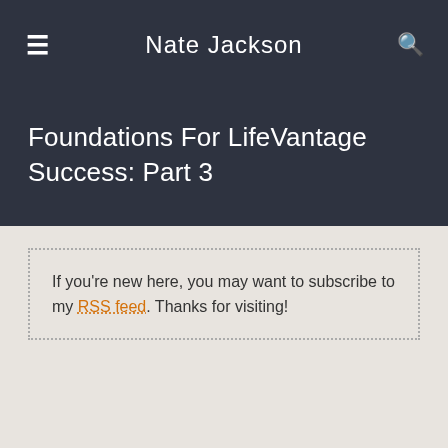Nate Jackson
Foundations For LifeVantage Success: Part 3
If you're new here, you may want to subscribe to my RSS feed. Thanks for visiting!